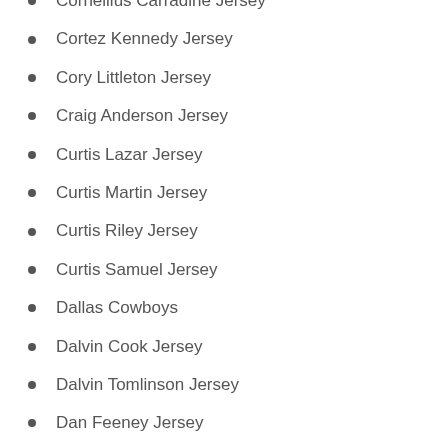Cornellius Carradine Jersey
Cortez Kennedy Jersey
Cory Littleton Jersey
Craig Anderson Jersey
Curtis Lazar Jersey
Curtis Martin Jersey
Curtis Riley Jersey
Curtis Samuel Jersey
Dallas Cowboys
Dalvin Cook Jersey
Dalvin Tomlinson Jersey
Dan Feeney Jersey
Dan Fouts Jersey
Danny Amendola Jersey